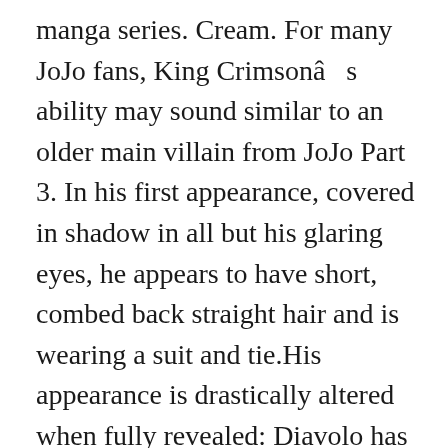manga series. Cream. For many JoJo fans, King Crimsonâs ability may sound similar to an older main villain from JoJo Part 3. In his first appearance, covered in shadow in all but his glaring eyes, he appears to have short, combed back straight hair and is wearing a suit and tie.His appearance is drastically altered when fully revealed: Diavolo has long hair, leopard-patterned with various spots, parted in a zig-zagging manner; the bangs of which are propped and parted slightly to the side. Jojo's bizzare adventure. It is also the stand of one of Part 5 's minor antagonists, Polpo. OH NO (Jojo) rero rero jojo. All tracks included in this project are FREE to use for any kind of Jojo's Bizarre